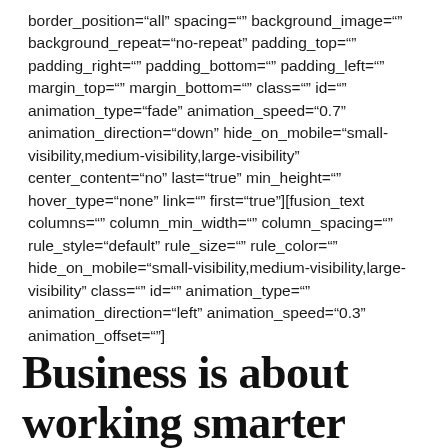border_position="all" spacing="" background_image="" background_repeat="no-repeat" padding_top="" padding_right="" padding_bottom="" padding_left="" margin_top="" margin_bottom="" class="" id="" animation_type="fade" animation_speed="0.7" animation_direction="down" hide_on_mobile="small-visibility,medium-visibility,large-visibility" center_content="no" last="true" min_height="" hover_type="none" link="" first="true"][fusion_text columns="" column_min_width="" column_spacing="" rule_style="default" rule_size="" rule_color="" hide_on_mobile="small-visibility,medium-visibility,large-visibility" class="" id="" animation_type="" animation_direction="left" animation_speed="0.3" animation_offset=""]
Business is about working smarter